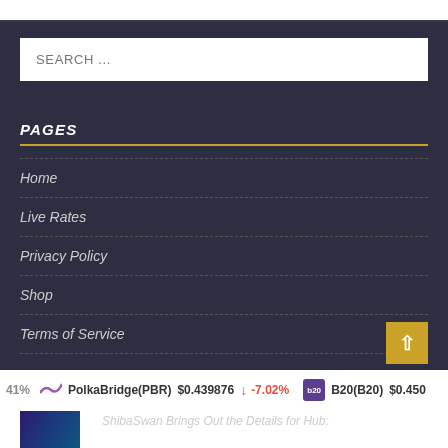SEARCH ...
PAGES
Home
Live Rates
Privacy Policy
Shop
Terms of Service
LATEST NEWS
[Figure (screenshot): News thumbnail with colorful gaming/crypto art]
ShibaSwan Brings Out the Details for Hub:
PolkaBridge(PBR) $0.439876 ↓ -7.02% | B20(B20) $0.450